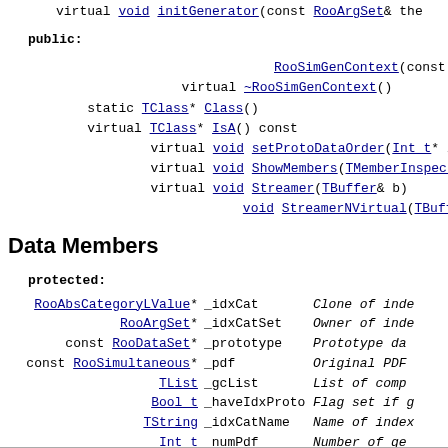virtual void initGenerator(const RooArgSet& the
public:
RooSimGenContext(const RooSimulta
 virtual ~RooSimGenContext()
 static TClass* Class()
 virtual TClass* IsA() const
 virtual void setProtoDataOrder(Int_t* lut)
 virtual void ShowMembers(TMemberInspector& insp
 virtual void Streamer(TBuffer& b)
 void StreamerNVirtual(TBuffer& b)
Data Members
protected:
| Type | Name | Description |
| --- | --- | --- |
| RooAbsCategoryLValue* | _idxCat | Clone of inde |
| RooArgSet* | _idxCatSet | Owner of inde |
| const RooDataSet* | _prototype | Prototype da |
| const RooSimultaneous* | _pdf | Original PDF |
| TList | _gcList | List of comp |
| Bool_t | _haveIdxProto | Flag set if g |
| TString | _idxCatName | Name of index |
| Int_t | _numPdf | Number of ge |
| Double_t* | _fracThresh | [_numPdf] Fra |